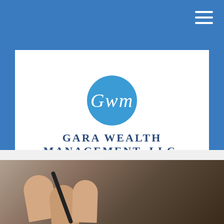Navigation bar with hamburger menu
[Figure (logo): Gara Wealth Management LLC logo: circular teal GWM monogram above company name in dark blue serif letters on white card background]
GARA WEALTH MANAGEMENT, LLC.
Twitter and LinkedIn social media icons
856-547-5880
[Figure (photo): Close-up photo of a person's hand holding a pen, writing on paper]